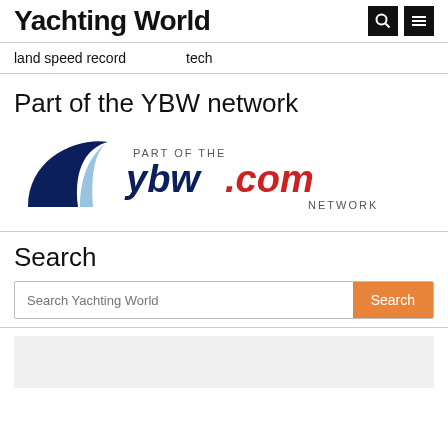Yachting World
land speed record   tech
Part of the YBW network
[Figure (logo): ybw.com network logo with wave icon in dark navy, text 'PART OF THE ybw.com NETWORK' where ybw is dark navy and .com is red]
Search
Search Yachting World